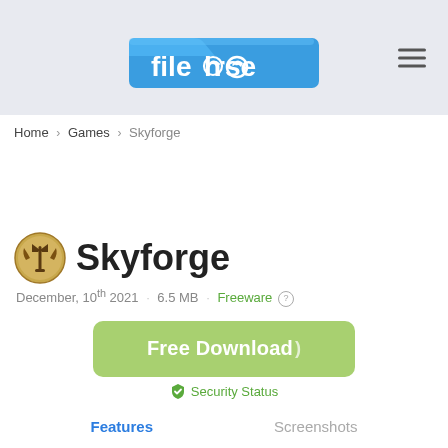[Figure (logo): Filehorse logo — blue folder shape with white 'filehorse' text and a horse silhouette replacing the 'o']
Home > Games > Skyforge
Skyforge
December, 10th 2021  ·  6.5 MB  ·  Freeware  (?)
Free Download
Security Status
Features
Screenshots